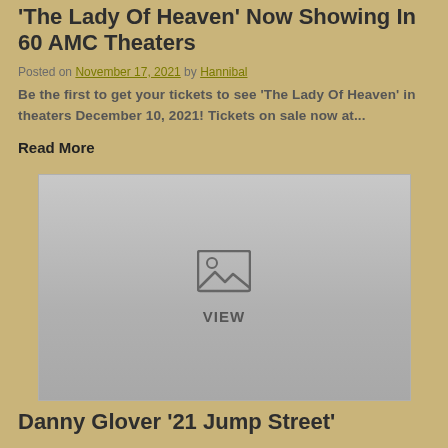'The Lady Of Heaven' Now Showing In 60 AMC Theaters
Posted on November 17, 2021 by Hannibal
Be the first to get your tickets to see 'The Lady Of Heaven' in theaters December 10, 2021! Tickets on sale now at...
Read More
[Figure (photo): Placeholder image with mountain/landscape icon and VIEW label]
Danny Glover '21 Jump Street'